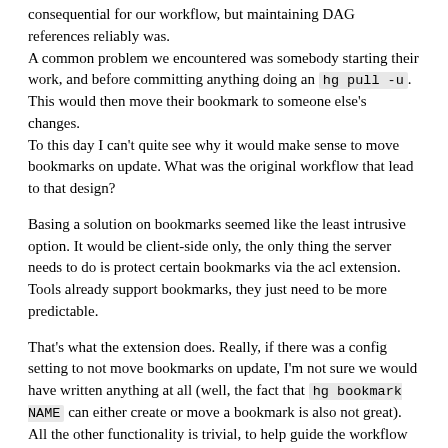consequential for our workflow, but maintaining DAG references reliably was.
A common problem we encountered was somebody starting their work, and before committing anything doing an hg pull -u. This would then move their bookmark to someone else's changes.
To this day I can't quite see why it would make sense to move bookmarks on update. What was the original workflow that lead to that design?
Basing a solution on bookmarks seemed like the least intrusive option. It would be client-side only, the only thing the server needs to do is protect certain bookmarks via the acl extension.
Tools already support bookmarks, they just need to be more predictable.
That's what the extension does. Really, if there was a config setting to not move bookmarks on update, I'm not sure we would have written anything at all (well, the fact that hg bookmark NAME can either create or move a bookmark is also not great).
All the other functionality is trivial, to help guide the workflow and avoid confusion. We don't autocreate bookmarks, we just make sure